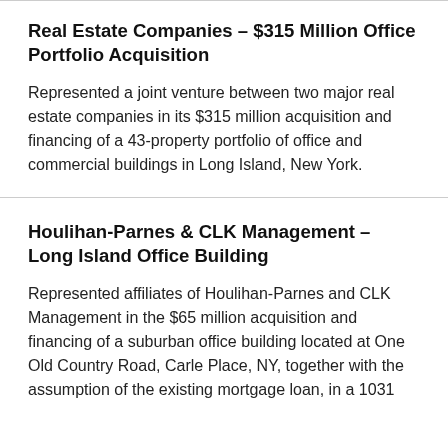Real Estate Companies – $315 Million Office Portfolio Acquisition
Represented a joint venture between two major real estate companies in its $315 million acquisition and financing of a 43-property portfolio of office and commercial buildings in Long Island, New York.
Houlihan-Parnes & CLK Management – Long Island Office Building
Represented affiliates of Houlihan-Parnes and CLK Management in the $65 million acquisition and financing of a suburban office building located at One Old Country Road, Carle Place, NY, together with the assumption of the existing mortgage loan, in a 1031